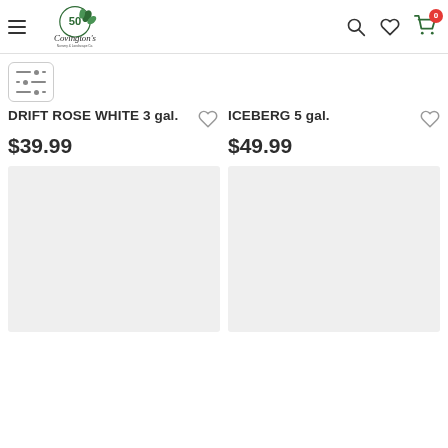Covington's Nursery & Landscape Co. — Navigation header with logo, search, wishlist, and cart (0 items)
[Figure (screenshot): Filter/sort toggle button with three horizontal slider lines]
DRIFT ROSE WHITE 3 gal.
$39.99
ICEBERG 5 gal.
$49.99
[Figure (photo): Product image placeholder (light gray rectangle) for second row left item]
[Figure (photo): Product image placeholder (light gray rectangle) for second row right item]